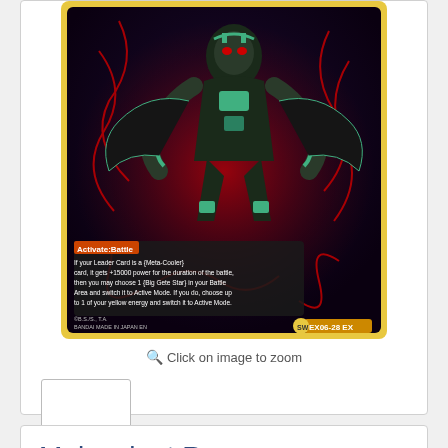[Figure (photo): Dragon Ball Super trading card game card - Malevolent Revenge EX06-28 EX, showing a dark robot/android character with red energy effects. Card text reads: Activate:Battle If your Leader Card is a {Meta-Cooler} card, it gets +15000 power for the duration of the battle, then you may choose 1 {Big Gete Star} in your Battle Area and switch it to Active Mode. If you do, choose up to 1 of your yellow energy and switch it to Active Mode. Copyright B.S./S., T.A. BANDAI MADE IN JAPAN EN]
Click on image to zoom
[Figure (photo): Small thumbnail image placeholder (empty/white rectangle with border)]
Malevolent Revenge [EX06-28]